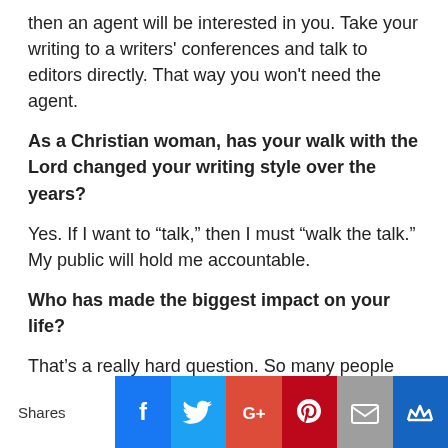then an agent will be interested in you. Take your writing to a writers' conferences and talk to editors directly. That way you won't need the agent.
As a Christian woman, has your walk with the Lord changed your writing style over the years?
Yes. If I want to “talk,” then I must “walk the talk.” My public will hold me accountable.
Who has made the biggest impact on your life?
That’s a really hard question. So many people through the years—authors such as C.S. Lewis and Charles Dickens, my sister Jo Jeanne, and my husband Dan Kline, to name a few. But I would have to say my sixth grade school teacher, Mrs. Eckert. She was the one who always told me
Shares